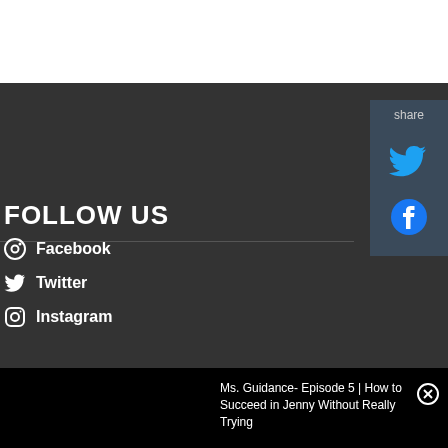[Figure (screenshot): Share panel with Twitter bird icon and Facebook icon on the right side]
FOLLOW US
Facebook
Twitter
Instagram
Ms. Guidance- Episode 5 | How to Succeed in Jenny Without Really Trying